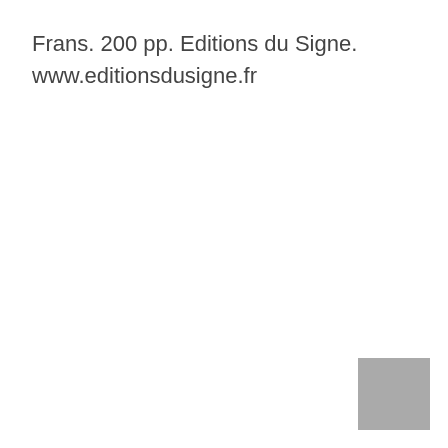Frans. 200 pp. Editions du Signe.
www.editionsdusigne.fr
[Figure (other): Gray square block in bottom-right corner]